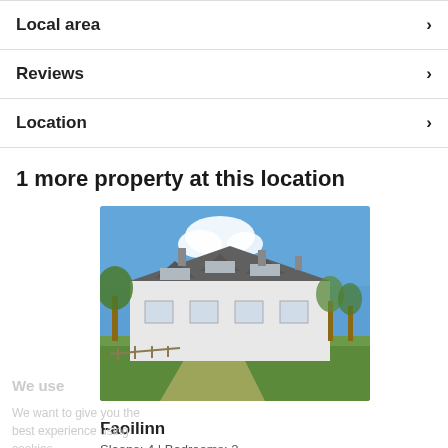Local area
Reviews
Location
1 more property at this location
[Figure (photo): Exterior photo of a white Scottish cottage/farmhouse with slate roof, dormers, chimneys, set in green lawn with trees and blue sky]
Faoilinn
Sleeps: 4 | Bedrooms: 2